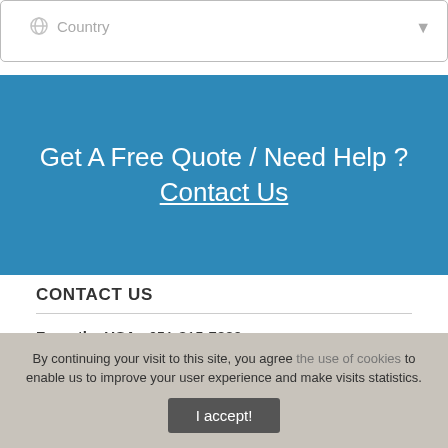Country
Get A Free Quote / Need Help ? Contact Us
CONTACT US
From the USA : 651-315-7880
From other countries : 00-1-651-315-7880
Our office hours are from Monday to Friday up to 12pm EST Ti...
By continuing your visit to this site, you agree the use of cookies to enable us to improve your user experience and make visits statistics.
I accept!